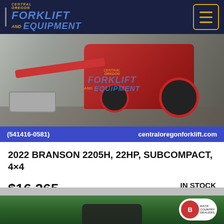[Figure (screenshot): Central Oregon Forklift and Equipment website header with logo on dark navy background and hamburger menu button with gold border]
[Figure (photo): Red Branson 2205H subcompact tractor with front loader bucket and forks on gravel surface with Central Oregon Forklift and Equipment watermark logo]
(541416-0581)    centraloregonforklift.com
2022 BRANSON 2205H, 22HP, SUBCOMPACT, 4×4
$16,265
IN STOCK
[Figure (photo): Partial view of a dark blue/black compact tractor or equipment with green foliage background and a circular dealer badge logo in top right]